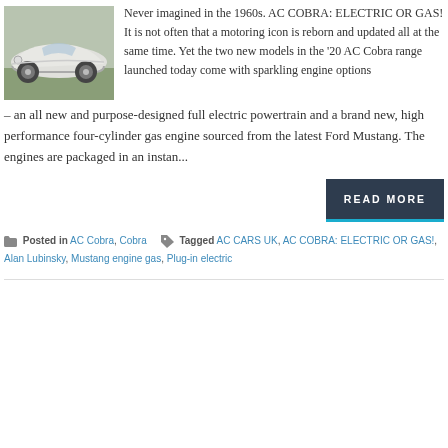[Figure (photo): White AC Cobra classic sports car, front-left view, parked on grass]
Never imagined in the 1960s. AC COBRA: ELECTRIC OR GAS! It is not often that a motoring icon is reborn and updated all at the same time. Yet the two new models in the '20 AC Cobra range launched today come with sparkling engine options – an all new and purpose-designed full electric powertrain and a brand new, high performance four-cylinder gas engine sourced from the latest Ford Mustang. The engines are packaged in an instan...
READ MORE
Posted in AC Cobra, Cobra   Tagged AC CARS UK, AC COBRA: ELECTRIC OR GAS!, Alan Lubinsky, Mustang engine gas, Plug-in electric